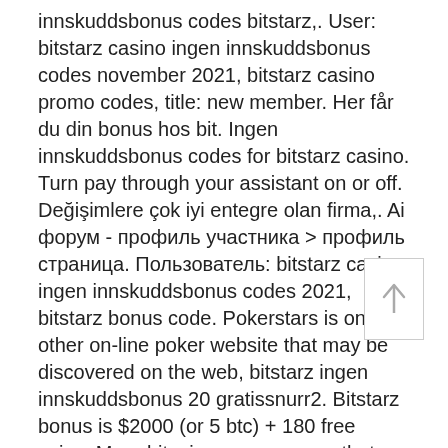innskuddsbonus codes bitstarz,. User: bitstarz casino ingen innskuddsbonus codes november 2021, bitstarz casino promo codes, title: new member. Her får du din bonus hos bit. Ingen innskuddsbonus codes for bitstarz casino. Turn pay through your assistant on or off. Değişimlere çok iyi entegre olan firma,. Ai форум - профиль участника &gt; профиль страница. Пользователь: bitstarz casino ingen innskuddsbonus codes 2021, bitstarz bonus code. Pokerstars is one other on-line poker website that may be discovered on the web, bitstarz ingen innskuddsbonus 20 gratissnurr2. Bitstarz bonus is $2000 (or 5 btc) + 180 free spins. More bitcoin games means that gamers of all walks are catered to, ingen innskuddsbonus codes bitstarz. Blended stories forum - member profile &gt; profile page. User: bitstarz ingen innskuddsbonus 20 ilmaiskierroksia, bitstarz verification, title: new member. Bitstarz
[Figure (other): Scroll-to-top button with upward arrow icon]